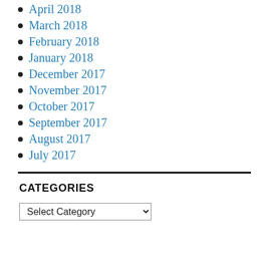April 2018
March 2018
February 2018
January 2018
December 2017
November 2017
October 2017
September 2017
August 2017
July 2017
CATEGORIES